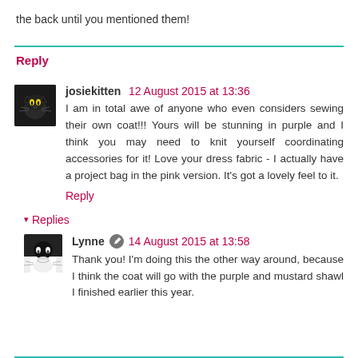the back until you mentioned them!
Reply
josiekitten 12 August 2015 at 13:36
I am in total awe of anyone who even considers sewing their own coat!!! Yours will be stunning in purple and I think you may need to knit yourself coordinating accessories for it! Love your dress fabric - I actually have a project bag in the pink version. It's got a lovely feel to it.
Reply
Replies
Lynne 14 August 2015 at 13:58
Thank you! I'm doing this the other way around, because I think the coat will go with the purple and mustard shawl I finished earlier this year.